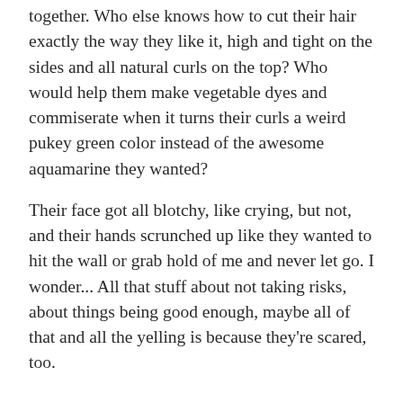together. Who else knows how to cut their hair exactly the way they like it, high and tight on the sides and all natural curls on the top? Who would help them make vegetable dyes and commiserate when it turns their curls a weird pukey green color instead of the awesome aquamarine they wanted?
Their face got all blotchy, like crying, but not, and their hands scrunched up like they wanted to hit the wall or grab hold of me and never let go. I wonder... All that stuff about not taking risks, about things being good enough, maybe all of that and all the yelling is because they're scared, too.
[Figure (illustration): Decorative ornament: a spiral/swirl in the center with sun-like radiating lines on either side, rendered in gold/tan color]